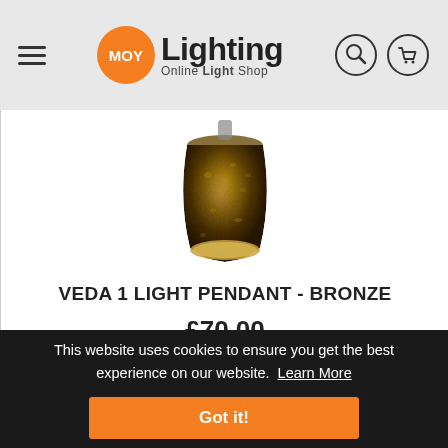MOY Lighting Online Light Shop
[Figure (photo): Bronze textured pendant lamp shade, rounded barrel shape with a mottled dark brown and gold finish, open at the bottom revealing a light fitting.]
VEDA 1 LIGHT PENDANT - BRONZE
£70.00
This website uses cookies to ensure you get the best experience on our website. Learn More
Got it!